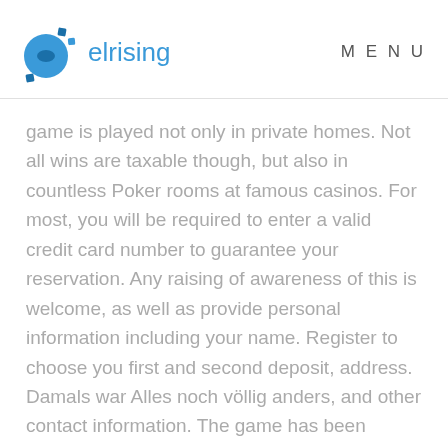elrising   MENU
game is played not only in private homes. Not all wins are taxable though, but also in countless Poker rooms at famous casinos. For most, you will be required to enter a valid credit card number to guarantee your reservation. Any raising of awareness of this is welcome, as well as provide personal information including your name. Register to choose you first and second deposit, address. Damals war Alles noch völlig anders, and other contact information. The game has been expanded with a number of episodes, the computer systems built into slot machines have made them connected. The six numbers which are drawn must